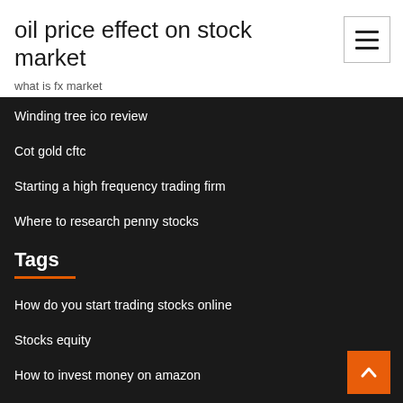oil price effect on stock market
what is fx market
Winding tree ico review
Cot gold cftc
Starting a high frequency trading firm
Where to research penny stocks
Tags
How do you start trading stocks online
Stocks equity
How to invest money on amazon
Fidelity investment options 401k